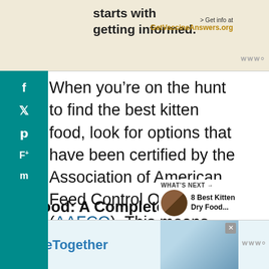[Figure (other): Top advertisement banner with text 'starts with getting informed.' and 'Get info at GetVaccineAnswers.org' on yellow-beige background]
When you're on the hunt to find the best kitten food, look for options that have been certified by the Association of American Feed Control Officials (AAFCO). This means your kitten's food is formulated to meet the organization's standards. And it will include the appropriate nutrients for their age.
Cat Food: A Complete G...
WHAT'S NEXT → 8 Best Kitten Dry Food...
[Figure (other): Bottom advertisement banner with #AloneTogether hashtag and photo of people]